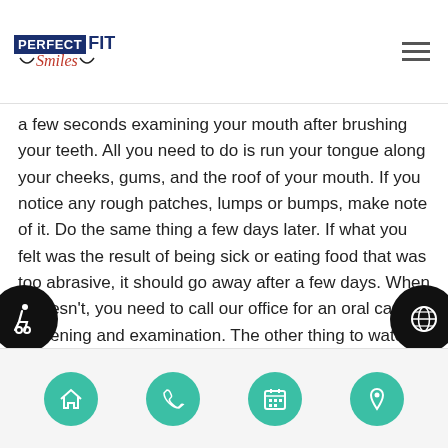PERFECT FIT Smiles
a few seconds examining your mouth after brushing your teeth. All you need to do is run your tongue along your cheeks, gums, and the roof of your mouth. If you notice any rough patches, lumps or bumps, make note of it. Do the same thing a few days later. If what you felt was the result of being sick or eating food that was too abrasive, it should go away after a few days. When it doesn't, you need to call our office for an oral cancer screening and examination. The other thing to watch for is teeth that move for no particular reason. If they are pushed out of place, something must have been pushing them. Occasionally, that something is cancer.
Navigation icons: home, phone, calendar, location